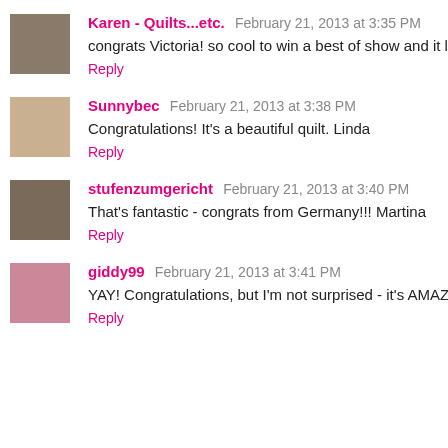Karen - Quilts...etc. February 21, 2013 at 3:35 PM
congrats Victoria! so cool to win a best of show and it lo
Reply
Sunnybec February 21, 2013 at 3:38 PM
Congratulations! It's a beautiful quilt. Linda
Reply
stufenzumgericht February 21, 2013 at 3:40 PM
That's fantastic - congrats from Germany!!! Martina
Reply
giddy99 February 21, 2013 at 3:41 PM
YAY! Congratulations, but I'm not surprised - it's AMAZIN
Reply